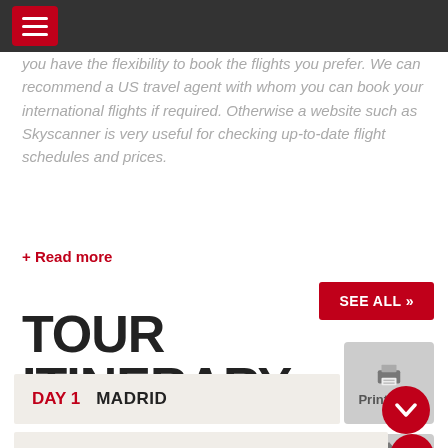Navigation menu header bar
you have the flexibility to book the flights you prefer. We can recommend a US travel agent with whom you can book your international flights if required. Otherwise a website such as Skyscanner is very useful for checking up-to-date flight schedules and prices.
+ Read more
TOUR ITINERARY
DAY 1  MADRID
DAY 2  PLASENCIA